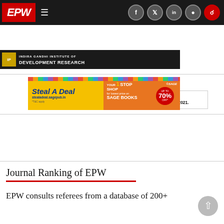EPW | Economic and Political Weekly — navigation bar
[Figure (screenshot): INDIA GANDHI INSTITUTE OF DEVELOPMENT RESEARCH banner]
[Figure (infographic): ADMISSION NOTICE: Last date for receipt of Online Application form is April 18, 2021.]
[Figure (infographic): Steal A Deal — stealadeal.sagepub.in — YOUR 1 STOP SHOP for lowest price on SAGE BOOKS, UP TO 70% OFF]
[Figure (infographic): SCHEME FOR TRANS-DISCIPLINARY RESEARCH FOR INDIA'S DEVELOPING ECONOMY — Call for applications for the UGC-STRIDE Research Capacity Building Program offered by the School of Economics, Devi Ahilya Vishwavidyalaya Indore. Please visit www.soedavv.ac.in for more details.]
Journal Ranking of EPW
EPW consults referees from a database of 200+